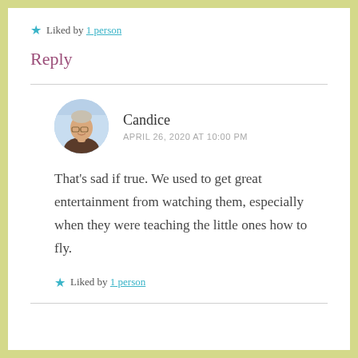★ Liked by 1 person
Reply
Candice
APRIL 26, 2020 AT 10:00 PM
That's sad if true. We used to get great entertainment from watching them, especially when they were teaching the little ones how to fly.
★ Liked by 1 person